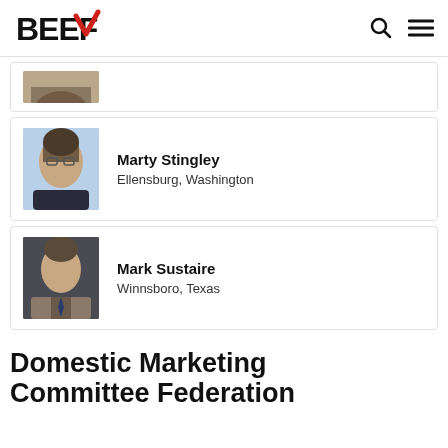BEEF
[Figure (photo): Partial photo of a person, only bottom portion visible]
Marty Stingley
Ellensburg, Washington
[Figure (photo): Headshot of Marty Stingley, a woman with glasses and dark hair, blue background]
Mark Sustaire
Winnsboro, Texas
[Figure (photo): Headshot of Mark Sustaire, a man in a suit, dark background]
Domestic Marketing Committee Federation